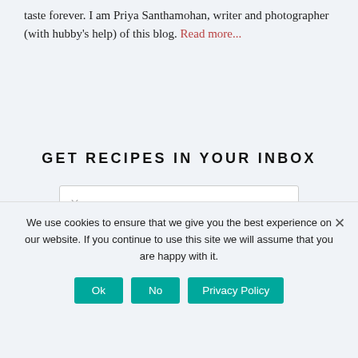taste forever. I am Priya Santhamohan, writer and photographer (with hubby's help) of this blog. Read more...
GET RECIPES IN YOUR INBOX
Your name
Your email address
We use cookies to ensure that we give you the best experience on our website. If you continue to use this site we will assume that you are happy with it.
Ok
No
Privacy Policy